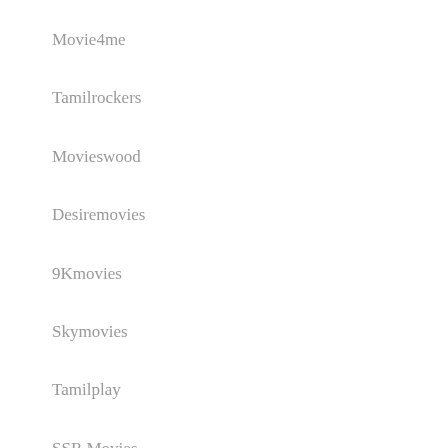Movie4me
Tamilrockers
Movieswood
Desiremovies
9Kmovies
Skymovies
Tamilplay
SSR Movies
Moviezwap Movies